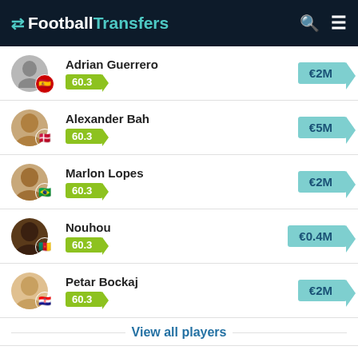FootballTransfers
Adrian Guerrero | 60.3 | €2M
Alexander Bah | 60.3 | €5M
Marlon Lopes | 60.3 | €2M
Nouhou | 60.3 | €0.4M
Petar Bockaj | 60.3 | €2M
View all players
Teammates
| Player | Value |
| --- | --- |